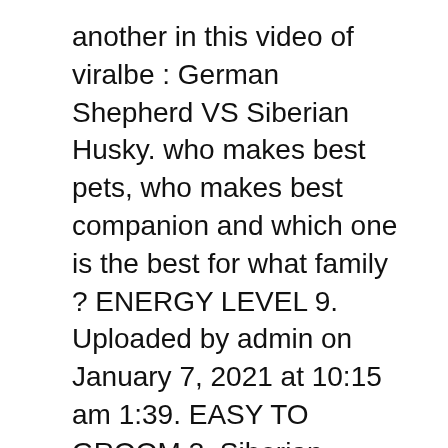another in this video of viralbe : German Shepherd VS Siberian Husky. who makes best pets, who makes best companion and which one is the best for what family ? ENERGY LEVEL 9. Uploaded by admin on January 7, 2021 at 10:15 am 1:39. EASY TO GROOM 3. Siberian Husky and German Shepherd Playing In Snow Storm 2014! Ares Slovraj. 9:30. 976. Siberian Huskies are normally recognized through their thick furred double coat. Siberian Husky requires … Euna Sadie. EASY TO GROOM 3. These canines are bred purely for performance. ... Alaskan Husky vs Saluki vs Labrador Retriever; Nova Scotia Duck Tolling Retriever vs Labrador Retriever vs Alaskan